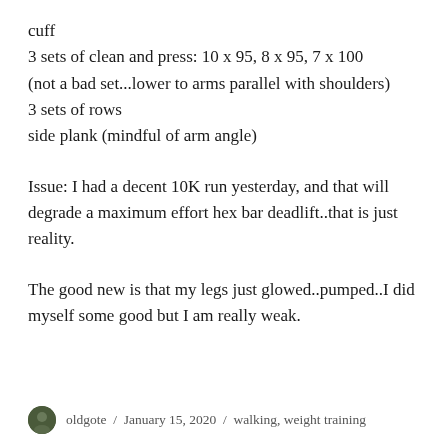cuff
3 sets of clean and press: 10 x 95, 8 x 95, 7 x 100
(not a bad set...lower to arms parallel with shoulders)
3 sets of rows
side plank (mindful of arm angle)
Issue: I had a decent 10K run yesterday, and that will degrade a maximum effort hex bar deadlift..that is just reality.
The good new is that my legs just glowed..pumped..I did myself some good but I am really weak.
oldgote / January 15, 2020 / walking, weight training